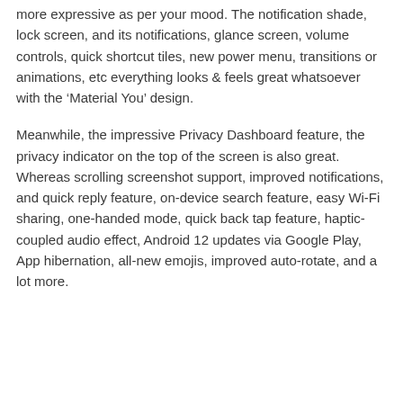more expressive as per your mood. The notification shade, lock screen, and its notifications, glance screen, volume controls, quick shortcut tiles, new power menu, transitions or animations, etc everything looks & feels great whatsoever with the ‘Material You’ design.
Meanwhile, the impressive Privacy Dashboard feature, the privacy indicator on the top of the screen is also great. Whereas scrolling screenshot support, improved notifications, and quick reply feature, on-device search feature, easy Wi-Fi sharing, one-handed mode, quick back tap feature, haptic-coupled audio effect, Android 12 updates via Google Play, App hibernation, all-new emojis, improved auto-rotate, and a lot more.